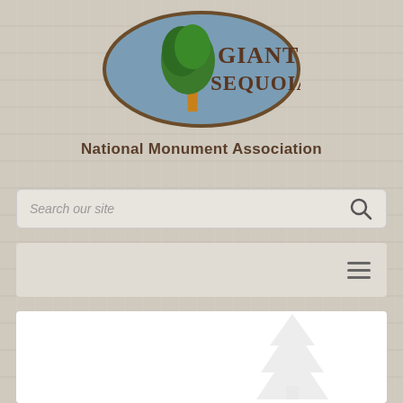[Figure (logo): Giant Sequoia National Monument Association oval logo with green tree and brown text on blue-grey oval background]
National Monument Association
[Figure (screenshot): Search bar with placeholder text 'Search our site' and magnifying glass icon]
[Figure (screenshot): Navigation bar with hamburger menu icon (three horizontal lines) on the right]
News
[Figure (illustration): Faint watermark illustration of a giant sequoia tree]